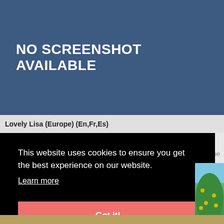[Figure (screenshot): Blue-gray placeholder area with white bold text reading 'NO SCREENSHOT AVAILABLE']
Lovely Lisa (Europe) (En,Fr,Es)
t Game
This website uses cookies to ensure you get the best experience on our website.
Learn more
Got it!
[Figure (photo): Partial view of a colorful game image with green tree/bush and yellow dots, blue sky]